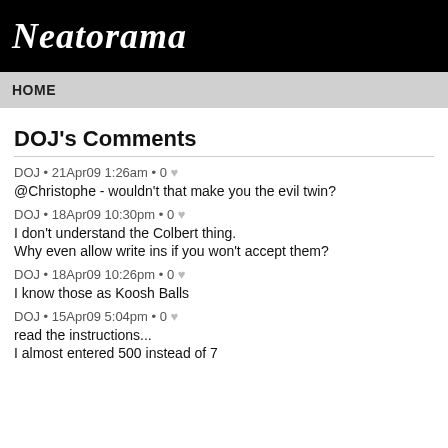Neatorama
HOME
DOJ's Comments
DOJ • 21Apr09 1:26am • 0 ♥
@Christophe - wouldn't that make you the evil twin?
DOJ • 18Apr09 10:30pm • 0 ♥
I don't understand the Colbert thing.
Why even allow write ins if you won't accept them?
DOJ • 18Apr09 10:26pm • 0 ♥
I know those as Koosh Balls
DOJ • 15Apr09 5:04pm • 0 ♥
read the instructions...
I almost entered 500 instead of 7